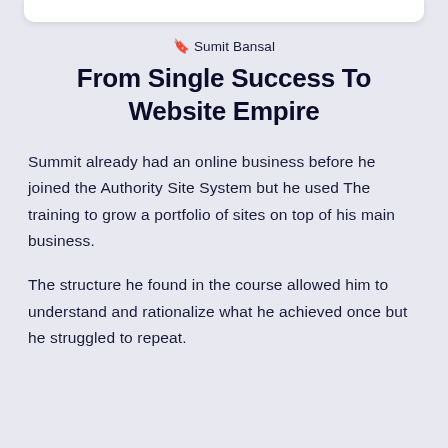[Figure (other): White rounded card top edge visible at top of page]
🔖 Sumit Bansal
From Single Success To Website Empire
Summit already had an online business before he joined the Authority Site System but he used The training to grow a portfolio of sites on top of his main business.
The structure he found in the course allowed him to understand and rationalize what he achieved once but he struggled to repeat.